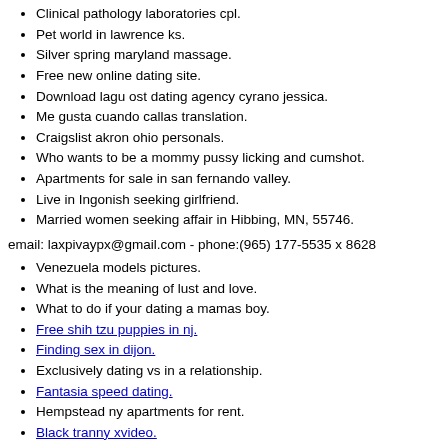Clinical pathology laboratories cpl.
Pet world in lawrence ks.
Silver spring maryland massage.
Free new online dating site.
Download lagu ost dating agency cyrano jessica.
Me gusta cuando callas translation.
Craigslist akron ohio personals.
Who wants to be a mommy pussy licking and cumshot.
Apartments for sale in san fernando valley.
Live in Ingonish seeking girlfriend.
Married women seeking affair in Hibbing, MN, 55746.
email: laxpivaypx@gmail.com - phone:(965) 177-5535 x 8628
Venezuela models pictures.
What is the meaning of lust and love.
What to do if your dating a mamas boy.
Free shih tzu puppies in nj.
Finding sex in dijon.
Exclusively dating vs in a relationship.
Fantasia speed dating.
Hempstead ny apartments for rent.
Black tranny xvideo.
Backpage miami broward.
Orange skye day spa.
Hot teen fuck old.